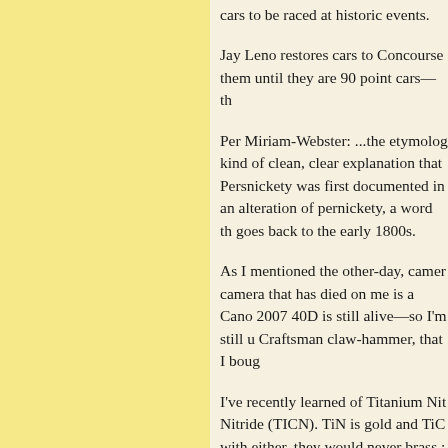cars to be raced at historic events.
Jay Leno restores cars to Concourse them until they are 90 point cars—th
Per Miriam-Webster: ...the etymolog kind of clean, clear explanation that Persnickety was first documented in an alteration of pernickety, a word th goes back to the early 1800s.
As I mentioned the other-day, camer camera that has died on me is a Cano 2007 40D is still alive—so I'm still u Craftsman claw-hammer, that I boug
I've recently learned of Titanium Nit Nitride (TICN). TiN is gold and TiC with either, they would never brass ;